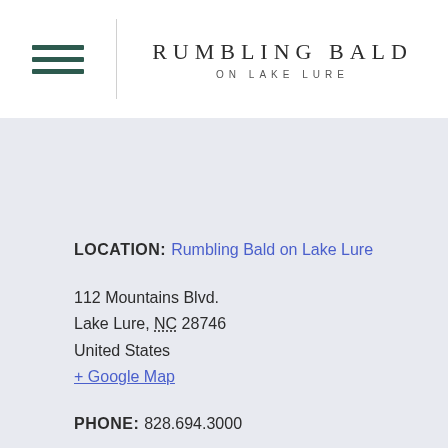[Figure (logo): Rumbling Bald on Lake Lure logo with hamburger menu icon on the left and centered text logo]
LOCATION: Rumbling Bald on Lake Lure
112 Mountains Blvd.
Lake Lure, NC 28746
United States
+ Google Map
PHONE: 828.694.3000